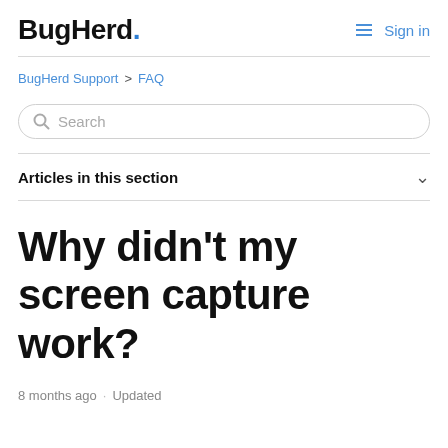BugHerd. Sign in
BugHerd Support > FAQ
Search
Articles in this section
Why didn't my screen capture work?
8 months ago · Updated